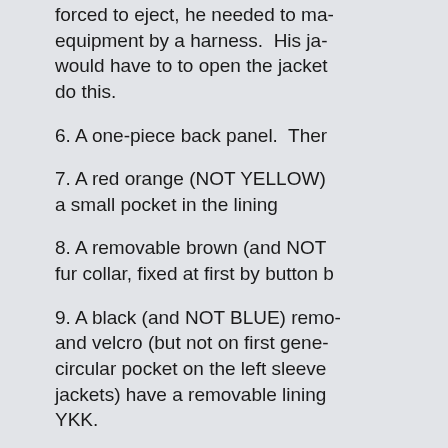forced to eject, he needed to ma- equipment by a harness.  His ja- would have to to open the jacke- do this.
6. A one-piece back panel.  Ther
7. A red orange (NOT YELLOW) a small pocket in the lining
8. A removable brown (and NOT fur collar, fixed at first by button b
9. A black (and NOT BLUE) remo- and velco (but not on first gener- circular pocket on the left sleeve jackets) have a removable lining YKK.
10.?Zig Zag? stitching on collar.